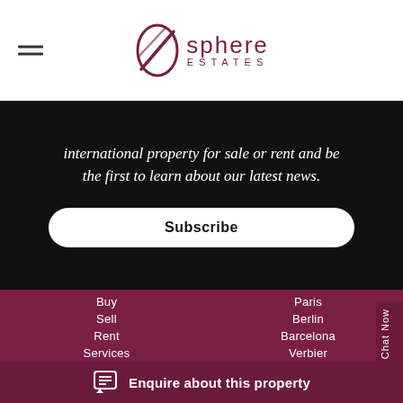Sphere Estates
international property for sale or rent and be the first to learn about our latest news.
Subscribe
Buy
Sell
Rent
Services
News & Media
Paris
Berlin
Barcelona
Verbier
London
Enquire about this property